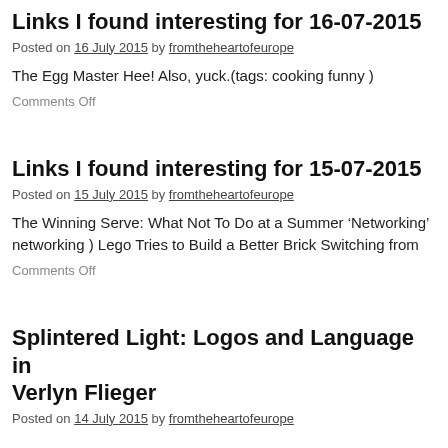Links I found interesting for 16-07-2015
Posted on 16 July 2015 by fromtheheartofeurope
The Egg Master Hee! Also, yuck.(tags: cooking funny )
Comments Off
Links I found interesting for 15-07-2015
Posted on 15 July 2015 by fromtheheartofeurope
The Winning Serve: What Not To Do at a Summer ‘Networking’ networking ) Lego Tries to Build a Better Brick Switching from
Comments Off
Splintered Light: Logos and Language in Verlyn Flieger
Posted on 14 July 2015 by fromtheheartofeurope